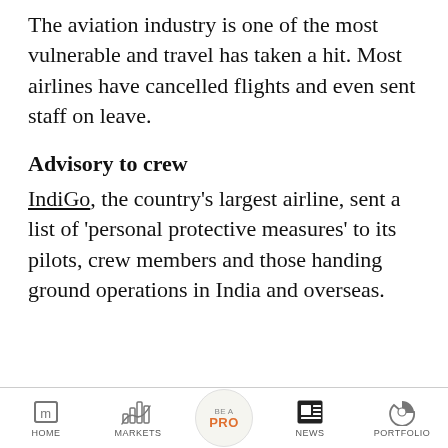The aviation industry is one of the most vulnerable and travel has taken a hit. Most airlines have cancelled flights and even sent staff on leave.
Advisory to crew
IndiGo, the country's largest airline, sent a list of 'personal protective measures' to its pilots, crew members and those handing ground operations in India and overseas.
HOME | MARKETS | BE A PRO | NEWS | PORTFOLIO